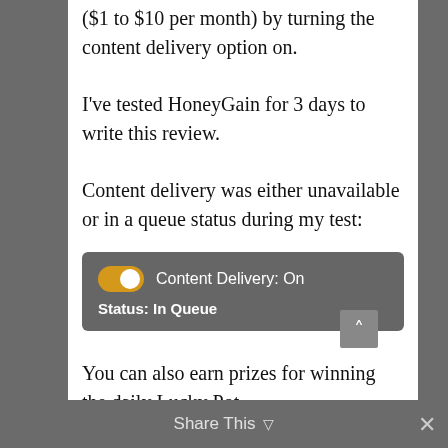($1 to $10 per month) by turning the content delivery option on.
I've tested HoneyGain for 3 days to write this review.
Content delivery was either unavailable or in a queue status during my test:
[Figure (screenshot): Screenshot of HoneyGain app UI showing a toggle switch set to On for Content Delivery, with status showing 'In Queue']
You can also earn prizes for winning the daily Lucky Pot.
Share This